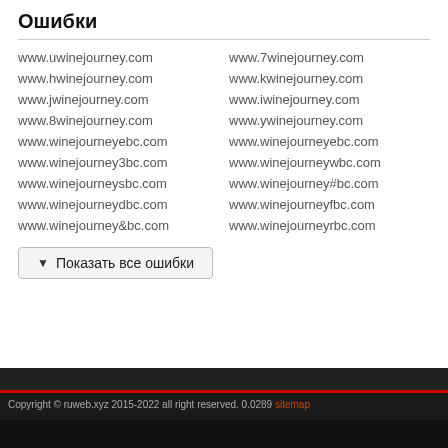Ошибки
www.uwinejourney.com
www.7winejourney.com
www.hwinejourney.com
www.kwinejourney.com
www.jwinejourney.com
www.iwinejourney.com
www.8winejourney.com
www.ywinejourney.com
www.winejourneyebc.com
www.winejourneyebc.com
www.winejourney3bc.com
www.winejourneywbc.com
www.winejourneysbc.com
www.winejourney#bc.com
www.winejourneydbc.com
www.winejourneyfbc.com
www.winejourney&bc.com
www.winejourneyrbc.com
▼ Показать все ошибки
Copyright © ruweb.xyz 2015-2022 all right reserved. 0.0289 sitemap